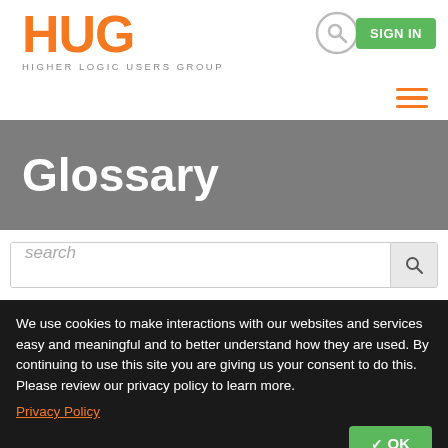[Figure (logo): HUG - Higher Logic Users Group logo in orange]
SIGN IN
Glossary
search
We use cookies to make interactions with our websites and services easy and meaningful and to better understand how they are used. By continuing to use this site you are giving us your consent to do this. Please review our privacy policy to learn more.
Privacy Policy
OK